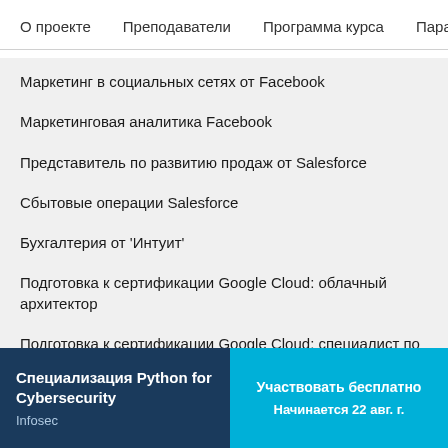О проекте   Преподаватели   Программа курса   Параме
Маркетинг в социальных сетях от Facebook
Маркетинговая аналитика Facebook
Представитель по развитию продаж от Salesforce
Сбытовые операции Salesforce
Бухгалтерия от 'Интуит'
Подготовка к сертификации Google Cloud: облачный архитектор
Подготовка к сертификации Google Cloud: специалист по инженерии облачных данных
Начните карьеру
Подготовьтесь к сертификации
Специализация Python for Cybersecurity
Infosec
Участвовать бесплатно
Начинается 22 авг. г.